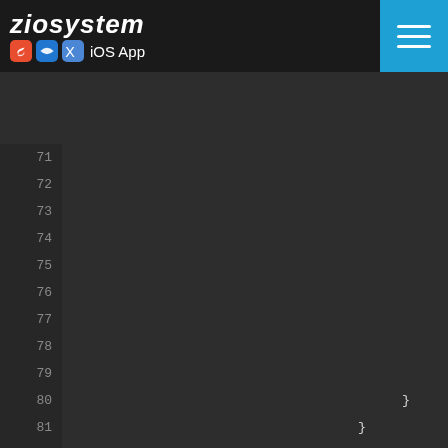ziosystem iOS App
[Figure (screenshot): Code editor screenshot showing Swift iOS code, lines 71-94, with syntax highlighting. Lines 80-91 show closing braces and .border(Color, Spacer(), Spacer(minLength:), .background(ConstValue.co modifiers. Lines 92-94 show .navigationBarTitle(""), .navigationBarHidden(true), .navigationBarBackButtonHidden(tr]
71
72
73
74
75
76
77
78
79
80  }
81    }
82      }
83        }.border(Colo
84        Spacer()
85      }
86      Spacer(minLength:
87    }
88  }
89    .background(ConstValue.co
90      }
91  }
92  .navigationBarTitle("")
93  .navigationBarHidden(true)
94  .navigationBarBackButtonHidden(tr